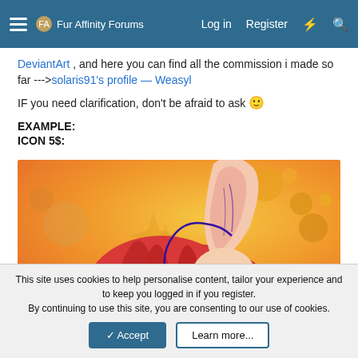Fur Affinity Forums — Log in, Register
DeviantArt , and here you can find all the commission i made so far --->solaris91's profile — Weasyl
IF you need clarification, don't be afraid to ask 🙂
EXAMPLE:
ICON 5$:
[Figure (illustration): Anime-style furry character with red hair and large pink ear, facing down, with star sparkles on cheek, on an orange/yellow warm bubbly background]
This site uses cookies to help personalise content, tailor your experience and to keep you logged in if you register.
By continuing to use this site, you are consenting to our use of cookies.
✓ Accept   Learn more...